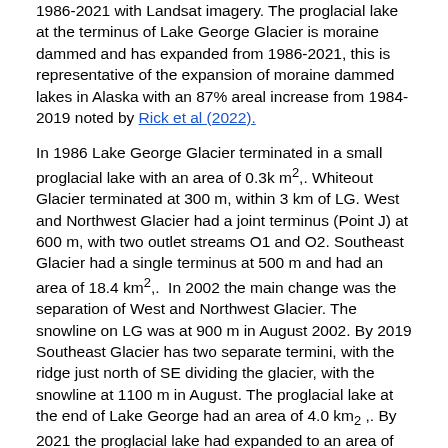1986-2021 with Landsat imagery. The proglacial lake at the terminus of Lake George Glacier is moraine dammed and has expanded from 1986-2021, this is representative of the expansion of moraine dammed lakes in Alaska with an 87% areal increase from 1984-2019 noted by Rick et al (2022).
In 1986 Lake George Glacier terminated in a small proglacial lake with an area of 0.3k m2,. Whiteout Glacier terminated at 300 m, within 3 km of LG. West and Northwest Glacier had a joint terminus (Point J) at 600 m, with two outlet streams O1 and O2. Southeast Glacier had a single terminus at 500 m and had an area of 18.4 km2,. In 2002 the main change was the separation of West and Northwest Glacier. The snowline on LG was at 900 m in August 2002. By 2019 Southeast Glacier has two separate termini, with the ridge just north of SE dividing the glacier, with the snowline at 1100 m in August. The proglacial lake at the end of Lake George had an area of 4.0 km2 ,. By 2021 the proglacial lake had expanded to an area of 4.3 km2 ,, a 4.0 km2 , increase since 1986. Terminus retreat has been 2100 m for Lake George Glacier 1100 m for Whiteout Glacier, 1250 m for West Glacier, 1000 m for Northwest Glacier and 1100 m for Southeast Glacier. Southeast Glacier now has an area of 12 km2, a 33% area loss since 1986, ~1% per year. In 2021 the Outlet Stream from W, NW, and SE glacier parallels the margin of Lake George Glacier, but no longer goes under or is in contact. A notch at Point A has developed, from a meltwater runoff channel. Icebergs occupy much of the lake